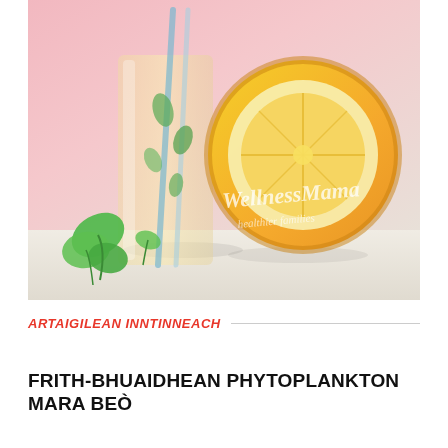[Figure (photo): A glass of lemonade or lemon-mint drink with mint leaves beside it and a halved lemon slice leaning against the glass. Background is pink/white. Watermark reads 'Wellness Mama - healthier families'.]
ARTAIGILEAN INNTINNEACH
FRITH-BHUAIDHEAN PHYTOPLANKTON MARA BEÒ